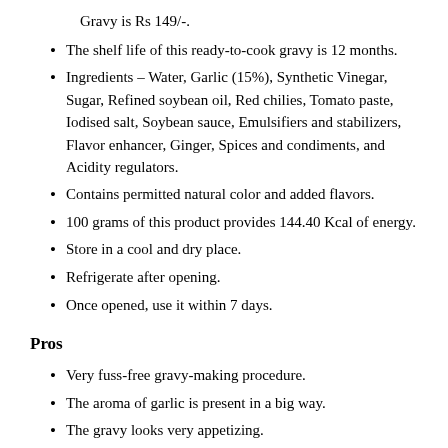Gravy is Rs 149/-.
The shelf life of this ready-to-cook gravy is 12 months.
Ingredients – Water, Garlic (15%), Synthetic Vinegar, Sugar, Refined soybean oil, Red chilies, Tomato paste, Iodised salt, Soybean sauce, Emulsifiers and stabilizers, Flavor enhancer, Ginger, Spices and condiments, and Acidity regulators.
Contains permitted natural color and added flavors.
100 grams of this product provides 144.40 Kcal of energy.
Store in a cool and dry place.
Refrigerate after opening.
Once opened, use it within 7 days.
Pros
Very fuss-free gravy-making procedure.
The aroma of garlic is present in a big way.
The gravy looks very appetizing.
Consistency-wise, the gravy is very balanced.
The Veeba Chef Hot Garlic gravy comes close to a